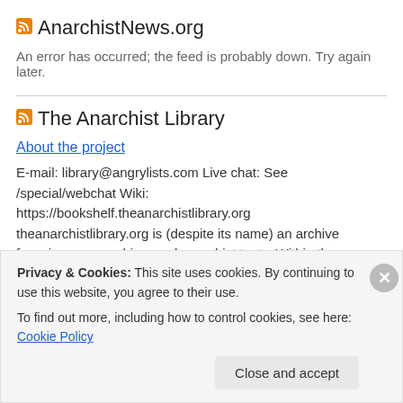AnarchistNews.org
An error has occurred; the feed is probably down. Try again later.
The Anarchist Library
About the project
E-mail: library@angrylists.com Live chat: See /special/webchat Wiki: https://bookshelf.theanarchistlibrary.org theanarchistlibrary.org is (despite its name) an archive focusing on anarchism and anarchist texts. Within the scope of our use of the term “archism” we have been quite broad, but broad does not mean infinite, and basically shrinks
Privacy & Cookies: This site uses cookies. By continuing to use this website, you agree to their use.
To find out more, including how to control cookies, see here: Cookie Policy
Close and accept